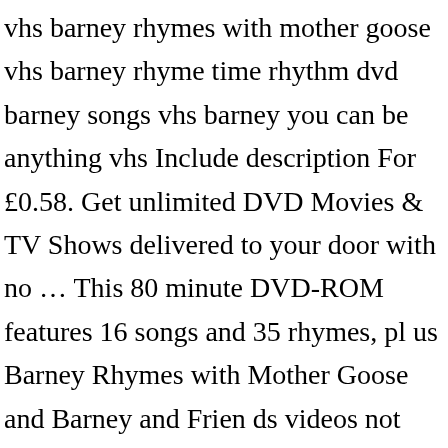vhs barney rhymes with mother goose vhs barney rhyme time rhythm dvd barney songs vhs barney you can be anything vhs Include description For £0.58. Get unlimited DVD Movies & TV Shows delivered to your door with no … This 80 minute DVD-ROM features 16 songs and 35 rhymes, pl us Barney Rhymes with Mother Goose and Barney and Frien ds videos not available since 1987. Ended: Dec 12, 2020. Barney's Rhyme Time Rhythm: Barney: Amazon.com.mx: Películas y Series de TV. Ended: Dec 12, 2020. The child actors aren't too annoying, the adults pull it off